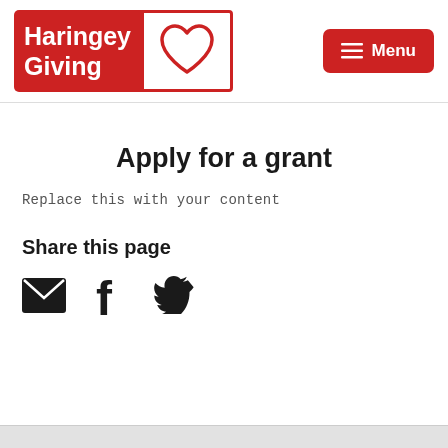[Figure (logo): Haringey Giving logo with red background text and heart icon]
Apply for a grant
Replace this with your content
Share this page
[Figure (infographic): Social share icons: email envelope, Facebook f, Twitter bird]